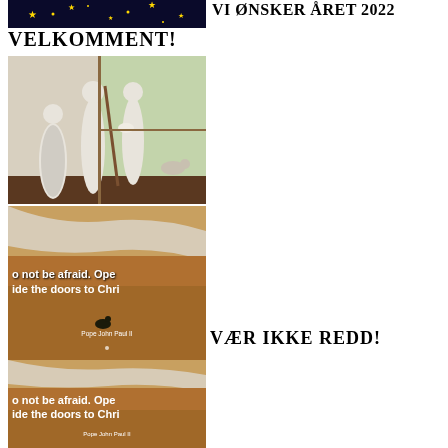[Figure (photo): Dark background with yellow stars - decorative header image]
VI ØNSKER ÅRET 2022 VELKOMMENT!
[Figure (photo): Nativity scene figurines - white ceramic figures of Mary, Joseph, shepherd, and animals on a windowsill]
[Figure (photo): Beach scene with waves and sand, overlaid with quote text: 'Do not be afraid. Open wide the doors to Christ' attributed to Pope John Paul II]
VÆR IKKE REDD!
[Figure (photo): Repeated beach scene with same quote: 'Do not be afraid. Open wide the doors to Christ' attributed to Pope John Paul II]